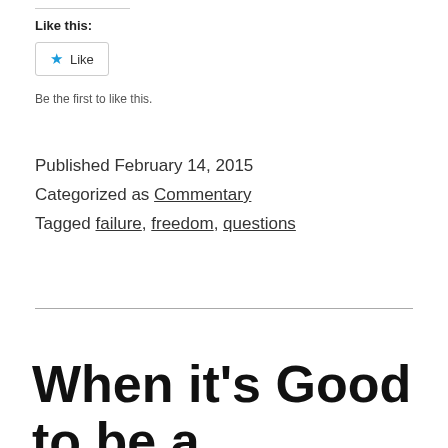Like this:
[Figure (other): Like button widget with star icon]
Be the first to like this.
Published February 14, 2015
Categorized as Commentary
Tagged failure, freedom, questions
When it’s Good to be a